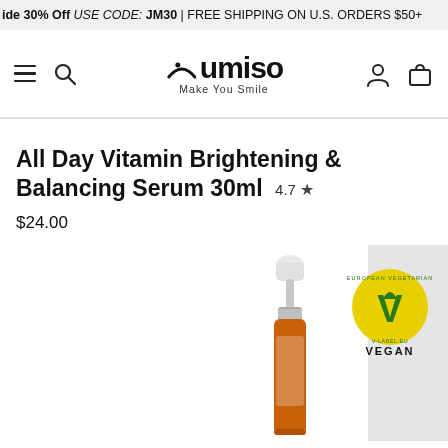ide 30% Off USE CODE: JM30 | FREE SHIPPING ON U.S. ORDERS $50+
[Figure (logo): Jumiso logo with smiley face and tagline 'Make You Smile']
All Day Vitamin Brightening & Balancing Serum 30ml 4.7 ★
$24.00
[Figure (photo): Dropper serum bottle with orange/amber liquid and white dropper cap, with European Vegetarian Union VEGAN certification badge]